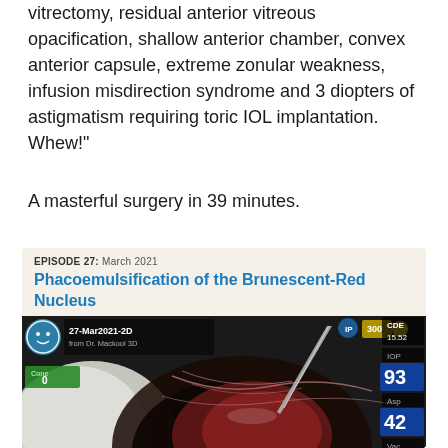vitrectomy, residual anterior vitreous opacification, shallow anterior chamber, convex anterior capsule, extreme zonular weakness, infusion misdirection syndrome and 3 diopters of astigmatism requiring toric IOL implantation. Whew!"
A masterful surgery in 39 minutes.
[Figure (screenshot): Episode 27: March 2021 - Phacoemulsification of the Brunescent-Red Nucleus. Screenshot of surgical video showing eye surgery in progress with instrument inserted into eye. Overlay shows: 27-Mar2021-2D, from Dr. Mackool 3D, IOP 93, Asp 42, Vac 338, Tors 20, CDE 15.52, counter showing 0 and 300.]